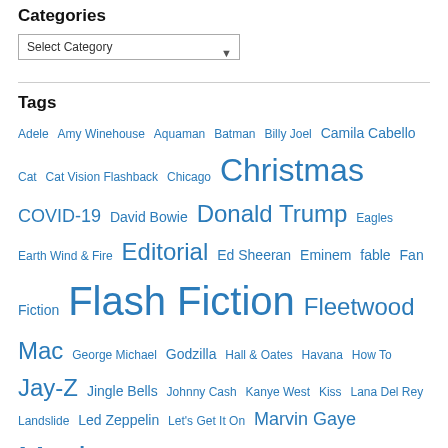Categories
Select Category
Tags
Adele Amy Winehouse Aquaman Batman Billy Joel Camila Cabello Cat Cat Vision Flashback Chicago Christmas COVID-19 David Bowie Donald Trump Eagles Earth Wind & Fire Editorial Ed Sheeran Eminem fable Fan Fiction Flash Fiction Fleetwood Mac George Michael Godzilla Hall & Oates Havana How To Jay-Z Jingle Bells Johnny Cash Kanye West Kiss Lana Del Rey Landslide Led Zeppelin Let's Get It On Marvin Gaye Mash up Medley Michael Jackson News NFL Nirvana Poetry postaday Quarantine Queen R.E.M. Radiohead Reginald The Cat Rush Santana Sheryl Crow Short